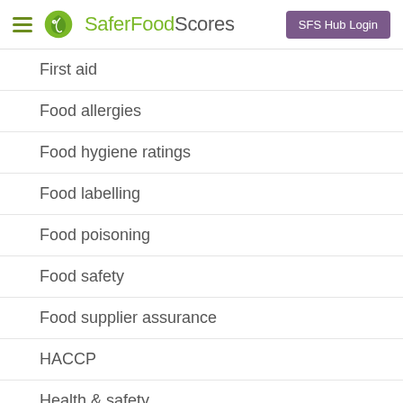SaferFoodScores — SFS Hub Login
First aid
Food allergies
Food hygiene ratings
Food labelling
Food poisoning
Food safety
Food supplier assurance
HACCP
Health & safety
Healthy eating